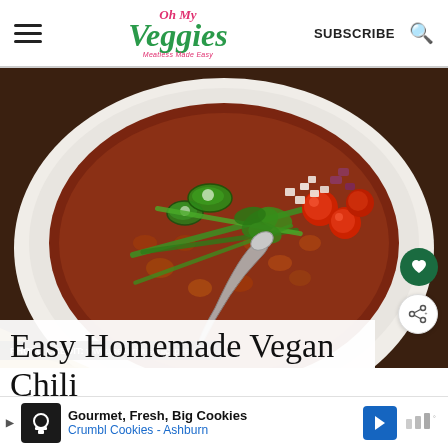Oh My Veggies — Meatless Made Easy | SUBSCRIBE
[Figure (photo): Close-up photo of a white bowl filled with vegan chili topped with sliced jalapeños, green onions, cherry tomatoes, diced red onion, and fresh cilantro, with a spoon in the bowl. Photo credit: www.thecuriouschickpea.com]
PHOTO CREDIT: www.thecuriouschickpea.com
Easy Homemade Vegan Chili
Gourmet, Fresh, Big Cookies — Crumbl Cookies - Ashburn